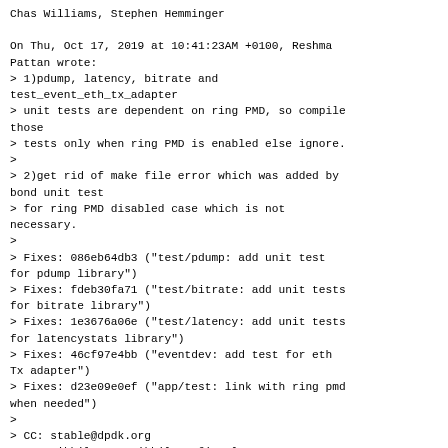Chas Williams, Stephen Hemminger

On Thu, Oct 17, 2019 at 10:41:23AM +0100, Reshma Pattan wrote:
> 1)pdump, latency, bitrate and test_event_eth_tx_adapter
> unit tests are dependent on ring PMD, so compile those
> tests only when ring PMD is enabled else ignore.
>
> 2)get rid of make file error which was added by bond unit test
> for ring PMD disabled case which is not necessary.
>
> Fixes: 086eb64db3 ("test/pdump: add unit test for pdump library")
> Fixes: fdeb30fa71 ("test/bitrate: add unit tests for bitrate library")
> Fixes: 1e3676a06e ("test/latency: add unit tests for latencystats library")
> Fixes: 46cf97e4bb ("eventdev: add test for eth Tx adapter")
> Fixes: d23e09e0ef ("app/test: link with ring pmd when needed")
>
> CC: stable@dpdk.org
> CC: Nikhil Rao <nikhil.rao@intel.com>
> CC: Chas Williams <chas3@att.com>
> CC: Bruce Richardson